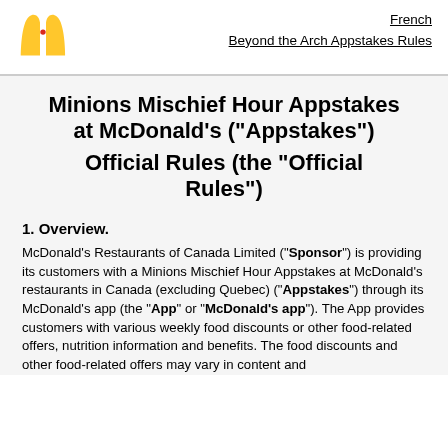[Figure (logo): McDonald's golden arches logo in yellow with red dot]
French
Beyond the Arch Appstakes Rules
Minions Mischief Hour Appstakes at McDonald's ("Appstakes") Official Rules (the "Official Rules")
1. Overview.
McDonald's Restaurants of Canada Limited ("Sponsor") is providing its customers with a Minions Mischief Hour Appstakes at McDonald's restaurants in Canada (excluding Quebec) ("Appstakes") through its McDonald's app (the "App" or "McDonald's app"). The App provides customers with various weekly food discounts or other food-related offers, nutrition information and benefits. The food discounts and other food-related offers may vary in content and